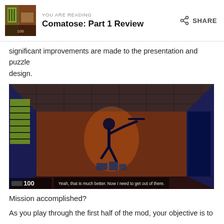YOU ARE READING
Comatose: Part 1 Review
significant improvements are made to the presentation and puzzle design.
[Figure (screenshot): Game screenshot showing a dark room interior with an orange running man sign on the wall. Bottom shows score '100' and subtitle text: 'Yeah, that is much better. Now I need to get out of there.']
Mission accomplished?
As you play through the first half of the mod, your objective is to